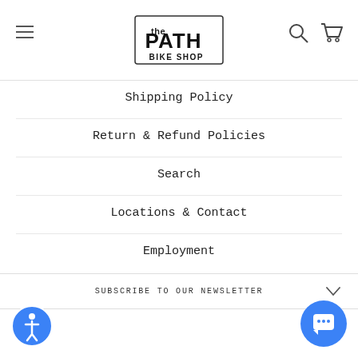the PATH BIKE SHOP
Shipping Policy
Return & Refund Policies
Search
Locations & Contact
Employment
SUBSCRIBE TO OUR NEWSLETTER